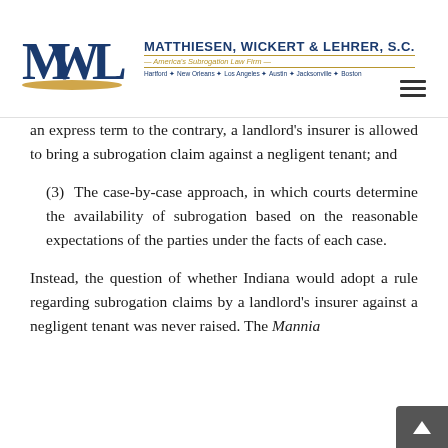[Figure (logo): Matthiesen, Wickert & Lehrer, S.C. law firm logo with MWL monogram and firm name, tagline 'America's Subrogation Law Firm', offices listed: Hartford, New Orleans, Los Angeles, Austin, Jacksonville, Boston]
an express term to the contrary, a landlord's insurer is allowed to bring a subrogation claim against a negligent tenant; and
(3)  The case-by-case approach, in which courts determine the availability of subrogation based on the reasonable expectations of the parties under the facts of each case.
Instead, the question of whether Indiana would adopt a rule regarding subrogation claims by a landlord's insurer against a negligent tenant was never raised. The Mannia